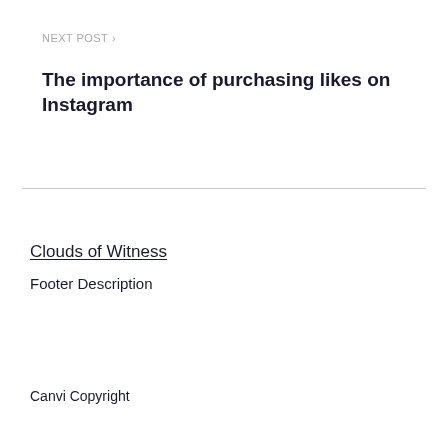NEXT POST >
The importance of purchasing likes on Instagram
Clouds of Witness
Footer Description
Canvi Copyright